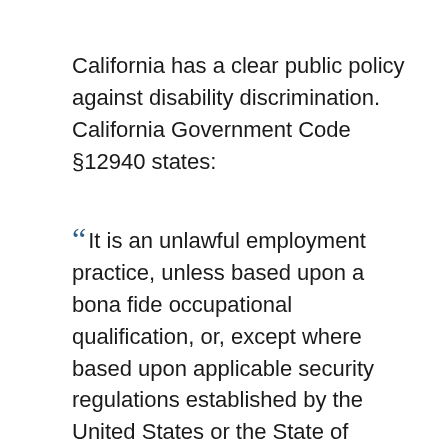California has a clear public policy against disability discrimination. California Government Code §12940 states:
"It is an unlawful employment practice, unless based upon a bona fide occupational qualification, or, except where based upon applicable security regulations established by the United States or the State of California for an employer, because of the...physical disability, mental disability, medical condition,... to refuse to hire or employ the person or to refuse to select the person for a training program leading to